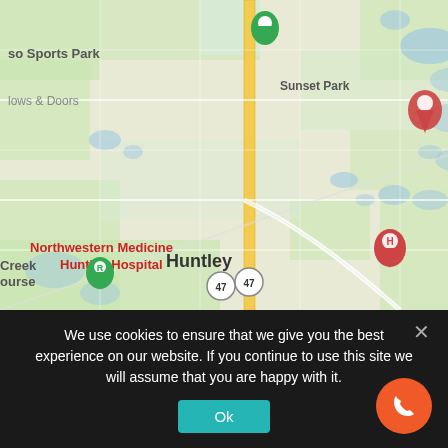[Figure (map): Google Maps view showing Huntley, Illinois area with markers for Excellent Garage Door Service and Repair, Northwestern Medicine Huntley Hospital, Keast Garage Door Repair CO, Sunset Park, and a golf course. Route 47 is visible running north-south through Huntley. Lake in the Hills is labeled to the right.]
We use cookies to ensure that we give you the best experience on our website. If you continue to use this site we will assume that you are happy with it.
Ok